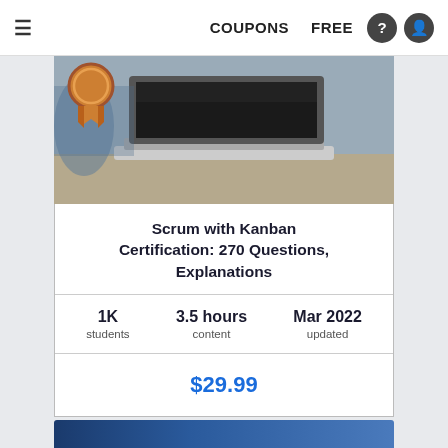≡  COUPONS  FREE
[Figure (screenshot): Laptop computer on a desk with a bronze medal/ribbon badge overlay in the top-left corner]
Scrum with Kanban Certification: 270 Questions, Explanations
1K students | 3.5 hours content | Mar 2022 updated
$29.99
[Figure (photo): Second course card beginning at bottom of page, dark blue image]